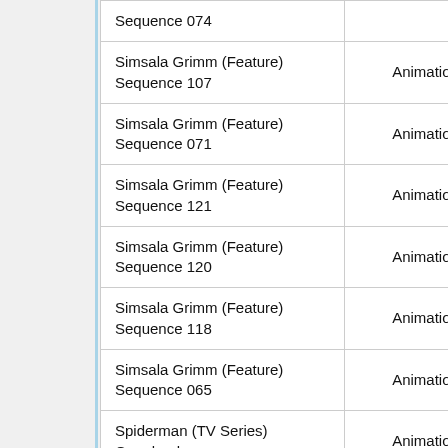| Title | Type |
| --- | --- |
| Sequence 074 |  |
| Simsala Grimm (Feature) Sequence 107 | Animation |
| Simsala Grimm (Feature) Sequence 071 | Animation |
| Simsala Grimm (Feature) Sequence 121 | Animation |
| Simsala Grimm (Feature) Sequence 120 | Animation |
| Simsala Grimm (Feature) Sequence 118 | Animation |
| Simsala Grimm (Feature) Sequence 065 | Animation |
| Spiderman (TV Series) Gangland | Animation |
| Spiderman (TV Series) ID Crisis | Animation |
| Simsala Grimm (Feature) |  |